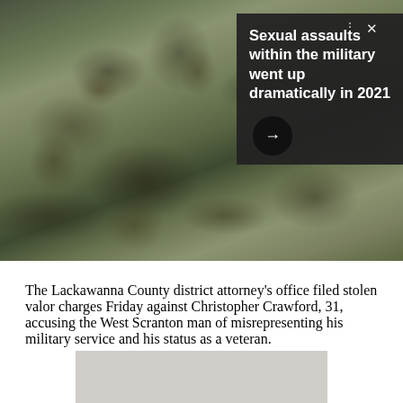[Figure (photo): Military soldiers in camouflage uniforms gathered together outdoors, viewed from behind and sides, with a building and flag visible in the background]
Sexual assaults within the military went up dramatically in 2021
The Lackawanna County district attorney's office filed stolen valor charges Friday against Christopher Crawford, 31, accusing the West Scranton man of misrepresenting his military service and his status as a veteran.
[Figure (other): Advertisement placeholder with repeating circular pattern]